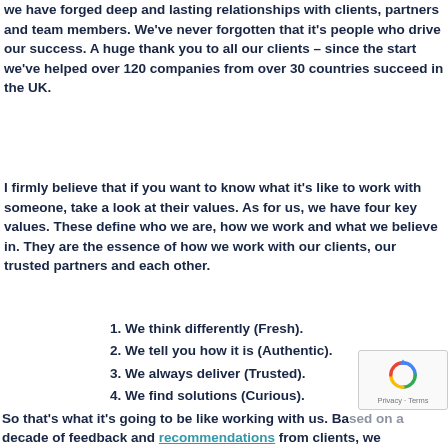we have forged deep and lasting relationships with clients, partners and team members. We've never forgotten that it's people who drive our success. A huge thank you to all our clients – since the start we've helped over 120 companies from over 30 countries succeed in the UK.
I firmly believe that if you want to know what it's like to work with someone, take a look at their values. As for us, we have four key values. These define who we are, how we work and what we believe in. They are the essence of how we work with our clients, our trusted partners and each other.
1. We think differently (Fresh).
2. We tell you how it is (Authentic).
3. We always deliver (Trusted).
4. We find solutions (Curious).
So that's what it's going to be like working with us. Based on a decade of feedback and recommendations from clients, we